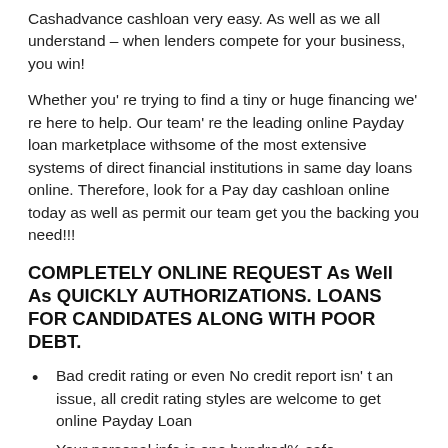Cashadvance cashloan very easy. As well as we all understand – when lenders compete for your business, you win!
Whether you're trying to find a tiny or huge financing we're here to help. Our team're the leading online Payday loan marketplace withsome of the most extensive systems of direct financial institutions in same day loans online. Therefore, look for a Pay day cashloan online today as well as permit our team get you the backing you need!!!
COMPLETELY ONLINE REQUEST As Well As QUICKLY AUTHORIZATIONS. LOANS FOR CANDIDATES ALONG WITH POOR DEBT.
Bad credit rating or even No credit report isn't an issue, all credit rating styles are welcome to get online Payday Loan
Your personal info is one hundred% safe